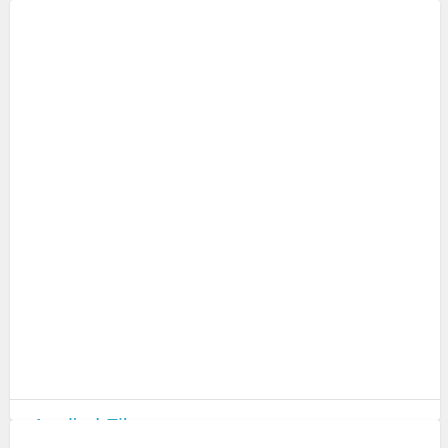Applied Fiber
Fiber optic cable manufacturing.
251 Walnut Ave. S, Leesburg, GA 31763
(229) 759-8301